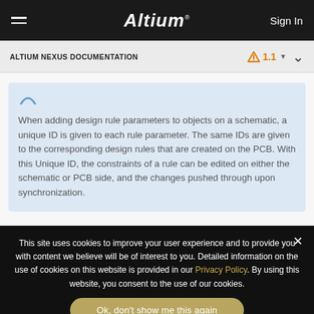Altium  Sign In
ALTIUM NEXUS DOCUMENTATION  1.1
When adding design rule parameters to objects on a schematic, a unique ID is given to each rule parameter. The same IDs are given to the corresponding design rules that are created on the PCB. With this Unique ID, the constraints of a rule can be edited on either the schematic or PCB side, and the changes pushed through upon synchronization.
This site uses cookies to improve your user experience and to provide you with content we believe will be of interest to you. Detailed information on the use of cookies on this website is provided in our Privacy Policy. By using this website, you consent to the use of our cookies.
Ok, don't show me this again